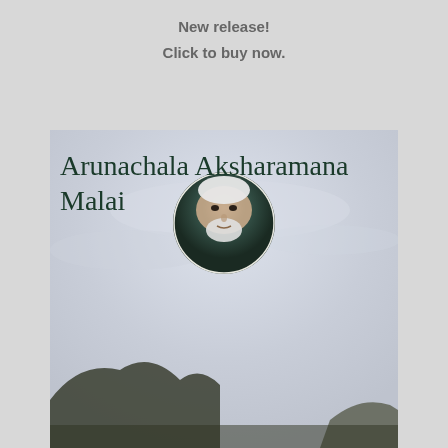New release!
Click to buy now.
[Figure (illustration): Book cover for 'Arunachala Aksharamana Malai' featuring a circular portrait photo of an elderly Indian sage with white hair and beard, overlaid on a landscape photograph of Arunachala hill with a pale overcast sky.]
Arunachala Aksharamana Malai